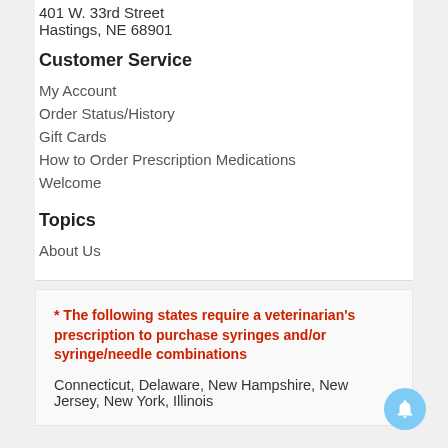401 W. 33rd Street
Hastings, NE 68901
Customer Service
My Account
Order Status/History
Gift Cards
How to Order Prescription Medications
Welcome
Topics
About Us
* The following states require a veterinarian's prescription to purchase syringes and/or syringe/needle combinations
Connecticut, Delaware, New Hampshire, New Jersey, New York, Illinois